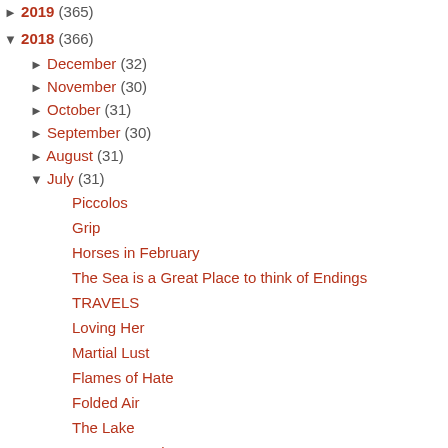2019 (365)
▼ 2018 (366)
► December (32)
► November (30)
► October (31)
► September (30)
► August (31)
▼ July (31)
Piccolos
Grip
Horses in February
The Sea is a Great Place to think of Endings
TRAVELS
Loving Her
Martial Lust
Flames of Hate
Folded Air
The Lake
Roatan, Honduras